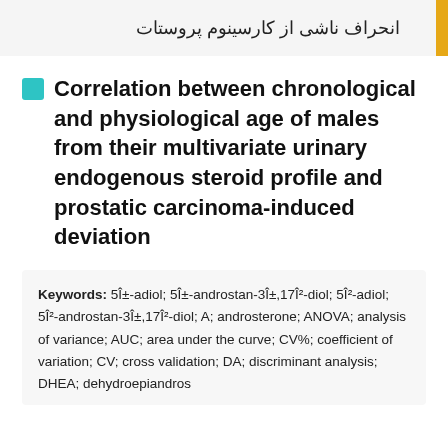انحراف ناشی از کارسینوم پروستات
Correlation between chronological and physiological age of males from their multivariate urinary endogenous steroid profile and prostatic carcinoma-induced deviation
Keywords: 5Î±-adiol; 5Î±-androstan-3Î±,17Î²-diol; 5Î²-adiol; 5Î²-androstan-3Î±,17Î²-diol; A; androsterone; ANOVA; analysis of variance; AUC; area under the curve; CV%; coefficient of variation; CV; cross validation; DA; discriminant analysis; DHEA; dehydroepiandros